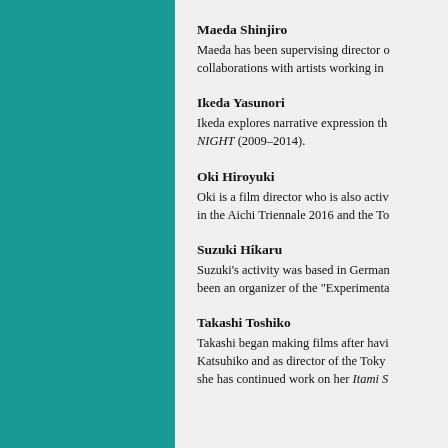Maeda Shinjiro
Maeda has been supervising director of... collaborations with artists working in...
Ikeda Yasunori
Ikeda explores narrative expression th... NIGHT (2009–2014).
Oki Hiroyuki
Oki is a film director who is also activ... in the Aichi Triennale 2016 and the To...
Suzuki Hikaru
Suzuki's activity was based in German... been an organizer of the "Experimenta...
Takashi Toshiko
Takashi began making films after havi... Katsuhiko and as director of the Toky... she has continued work on her Itami S...